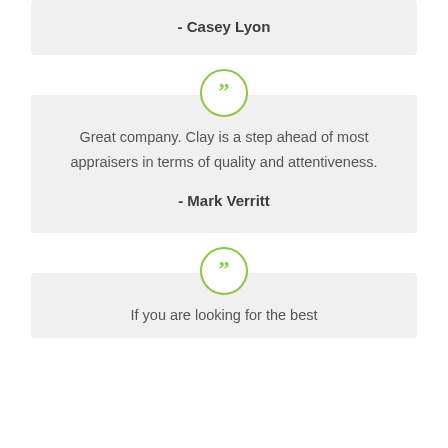- Casey Lyon
Great company. Clay is a step ahead of most appraisers in terms of quality and attentiveness.
- Mark Verritt
If you are looking for the best